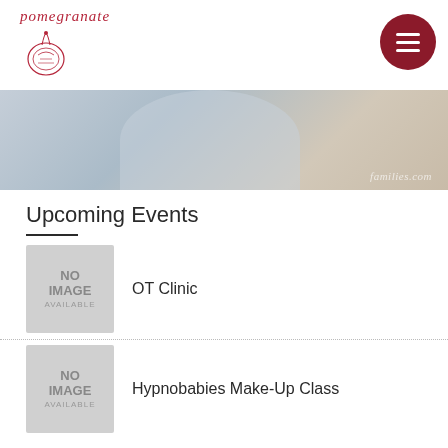pomegranate
[Figure (photo): Hero banner image showing a blurred close-up with watermark text 'families.com']
Upcoming Events
OT Clinic
Hypnobabies Make-Up Class
Pom Event
Pom CPR